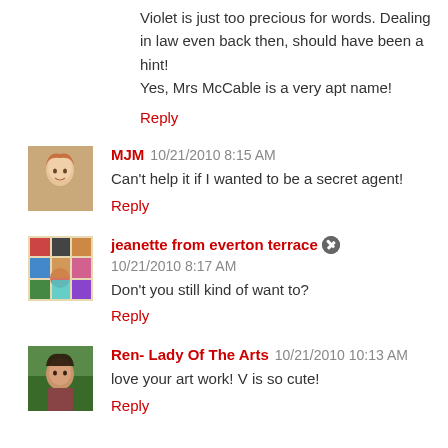Violet is just too precious for words. Dealing in law even back then, should have been a hint!
Yes, Mrs McCable is a very apt name!
Reply
MJM  10/21/2010 8:15 AM
Can't help it if I wanted to be a secret agent!
Reply
jeanette from everton terrace  10/21/2010 8:17 AM
Don't you still kind of want to?
Reply
Ren- Lady Of The Arts  10/21/2010 10:13 AM
love your art work! V is so cute!
Reply